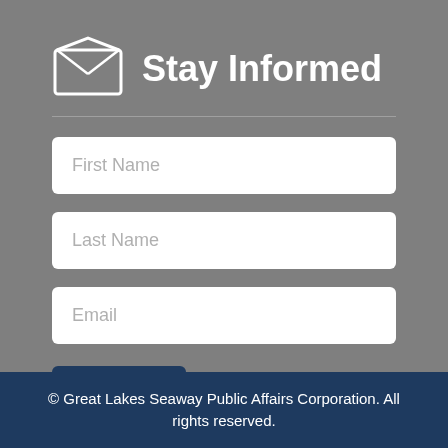Stay Informed
[Figure (illustration): Envelope icon - open envelope with letter inside, white outline style]
First Name
Last Name
Email
Submit
© Great Lakes Seaway Public Affairs Corporation. All rights reserved.